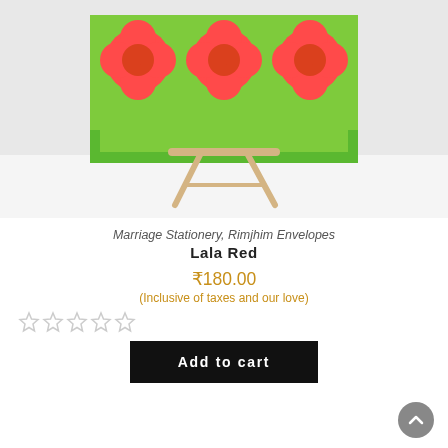[Figure (photo): A decorative card/stationery with bright red/coral flower shapes on a green background, displayed on a small wooden easel against a white surface.]
Marriage Stationery, Rimjhim Envelopes
Lala Red
₹180.00
(Inclusive of taxes and our love)
★★★★★ (0 rating stars)
Add to cart